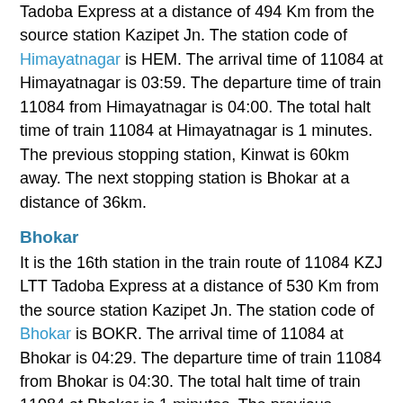Tadoba Express at a distance of 494 Km from the source station Kazipet Jn. The station code of Himayatnagar is HEM. The arrival time of 11084 at Himayatnagar is 03:59. The departure time of train 11084 from Himayatnagar is 04:00. The total halt time of train 11084 at Himayatnagar is 1 minutes. The previous stopping station, Kinwat is 60km away. The next stopping station is Bhokar at a distance of 36km.
Bhokar
It is the 16th station in the train route of 11084 KZJ LTT Tadoba Express at a distance of 530 Km from the source station Kazipet Jn. The station code of Bhokar is BOKR. The arrival time of 11084 at Bhokar is 04:29. The departure time of train 11084 from Bhokar is 04:30. The total halt time of train 11084 at Bhokar is 1 minutes. The previous stopping station, Himayatnagar is 36km away. The next stopping station is Mudkhed at a distance of 21km.
Mudkhed
It is the 17th station in the train route of 11084 KZJ LTT Tadoba Express at a distance of 551 Km from the source station Kazipet Jn. The station code of Mudkhed is MUE...